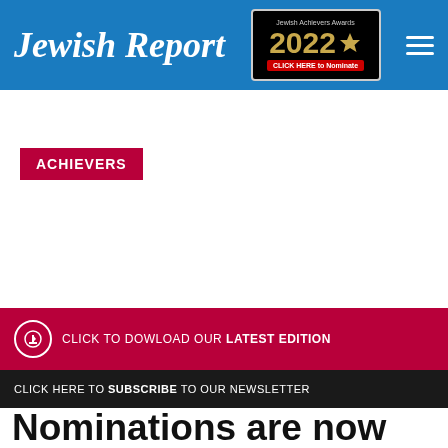Jewish Report
[Figure (logo): Jewish Achievers Awards 2022 badge with star and 'CLICK HERE to Nominate' button]
ACHIEVERS
CLICK TO DOWLOAD OUR LATEST EDITION
CLICK HERE TO SUBSCRIBE TO OUR NEWSLETTER
Nominations are now